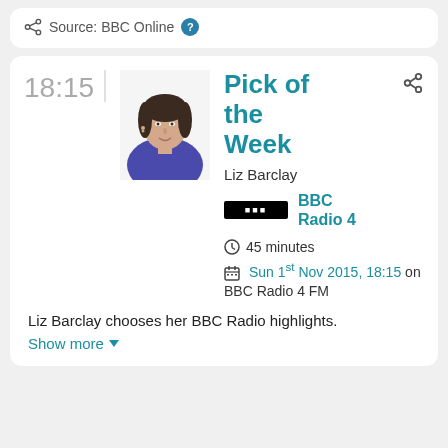Source: BBC Online ?
Pick of the Week
Liz Barclay
[Figure (logo): BBC Radio 4 logo — black rectangle with BBC dots text]
BBC Radio 4
45 minutes
Sun 1st Nov 2015, 18:15 on BBC Radio 4 FM
Liz Barclay chooses her BBC Radio highlights.
Show more